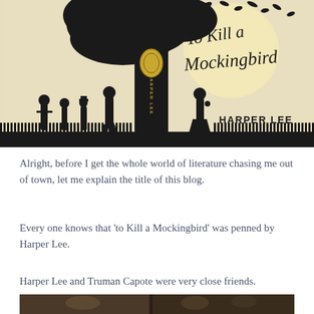[Figure (illustration): Book cover of 'To Kill a Mockingbird' by Harper Lee. Features black silhouettes of children and adults under a large tree against a cream/beige background. A large moon is visible upper right. Cursive title text reads 'To Kill a Mockingbird' in the upper right. 'HARPER LEE' appears in bold capital letters at the lower right. A picket fence runs along the bottom.]
Alright, before I get the whole world of literature chasing me out of town, let me explain the title of this blog.
Every one knows that 'to Kill a Mockingbird' was penned by Harper Lee.
Harper Lee and Truman Capote were very close friends.
[Figure (photo): Black and white photograph, partially visible at the bottom of the page, appears to show people.]